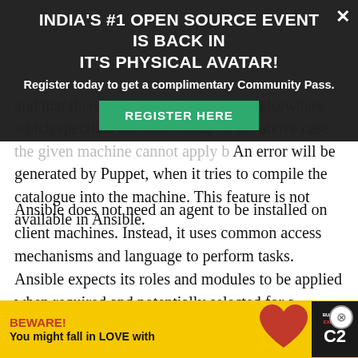[Figure (screenshot): Dark overlay popup banner: 'INDIA'S #1 OPEN SOURCE EVENT IS BACK IN IT'S PHYSICAL AVATAR!' with subtitle 'Register today to get a complimentary Community Pass.' and a green 'REGISTER HERE' button, with an X close button.]
and that there is also another resource elsewhere which specifies the same thing. In the above case, the given machine cannot apply both. An error will be generated by Puppet, when it tries to compile the catalogue into the machine. This feature is not available in Ansible.
Ansible does not need an agent to be installed on client machines. Instead, it uses common access mechanisms and language to perform tasks. Ansible expects its roles and modules to be applied when required and potentially selected for a specific run, so it is more relaxed about duplication. It also runs its tasks mostly in order – top to bottom – so even if you have the unwanted situation of changing the same resource multiple times, the behaviour is still genera
[Figure (screenshot): Yellow bottom ad banner: 'BEWARE! You might fall in LOVE with' with a red heart graphic and Business Express magazine image, and a close X button.]